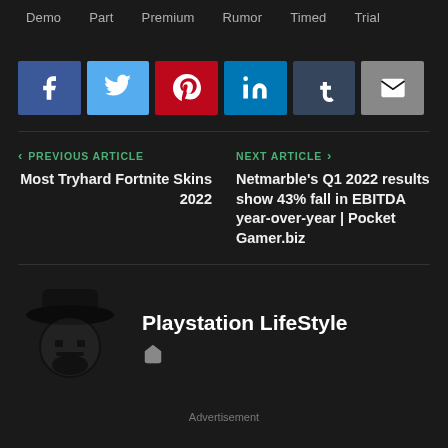Demo  Part  Premium  Rumor  Timed  Trial
[Figure (infographic): Social sharing buttons row: Facebook (blue), Twitter (light blue), Pinterest (red), LinkedIn (teal), Tumblr (dark blue-gray), Email (gray)]
PREVIOUS ARTICLE
Most Tryhard Fortnite Skins 2022
NEXT ARTICLE
Netmarble's Q1 2022 results show 43% fall in EBITDA year-over-year | Pocket Gamer.biz
[Figure (logo): Playstation LifeStyle author avatar: cartoon character with hat]
Playstation LifeStyle
Advertisement